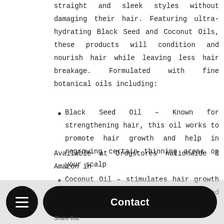straight and sleek styles without damaging their hair. Featuring ultra-hydrating Black Seed and Coconut Oils, these products will condition and nourish hair while leaving less hair breakage. Formulated with fine botanical oils including:
Black Seed Oil – Known for strengthening hair, this oil works to promote hair growth and help in regrowing certain thinning areas on your scalp
Coconut Oil – stimulates hair growth while adding luster, shine, and softness
Available at Drugstores nationwide & Amazon in
-Febr
Share this: